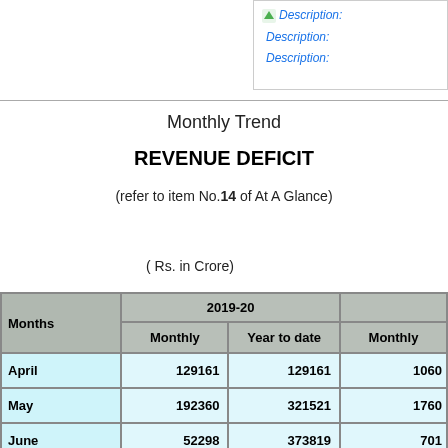[Figure (other): Header image with Description: links in top right corner]
Monthly Trend
REVENUE DEFICIT
(refer to item No.14 of At A Glance)
( Rs. in Crore)
| Months | 2019-20 Monthly | 2019-20 Year to date | Monthly |
| --- | --- | --- | --- |
| April | 129161 | 129161 | 1060... |
| May | 192360 | 321521 | 1760... |
| June | 52298 | 373819 | 701... |
| July | 83244 | 457063 | 897... |